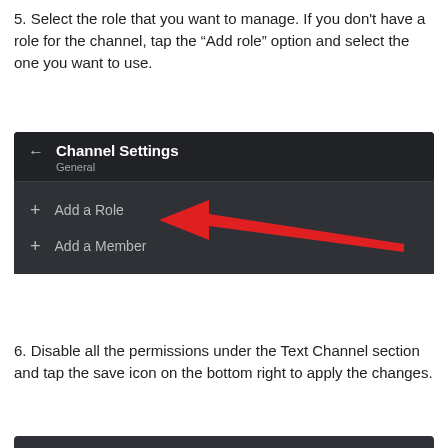5. Select the role that you want to manage. If you don't have a role for the channel, tap the “Add role” option and select the one you want to use.
[Figure (screenshot): Discord Channel Settings screen showing a dark UI with a back arrow, 'Channel Settings / General' header, and two menu items: 'Add a Role' (with a red arrow pointing to it) and 'Add a Member', each preceded by a '+' icon.]
6. Disable all the permissions under the Text Channel section and tap the save icon on the bottom right to apply the changes.